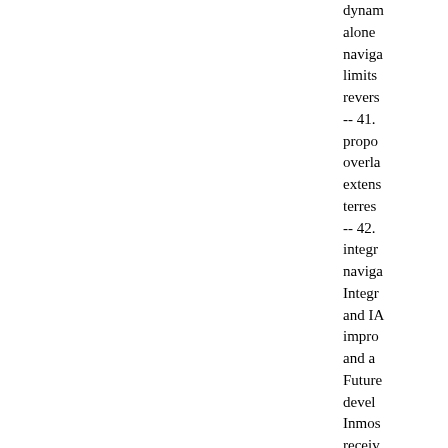dynam alone naviga limits revers -- 41. propo overla extens terres -- 42. integr naviga Integr and IA impro and a Future devel Inmos recei The S propo Satell